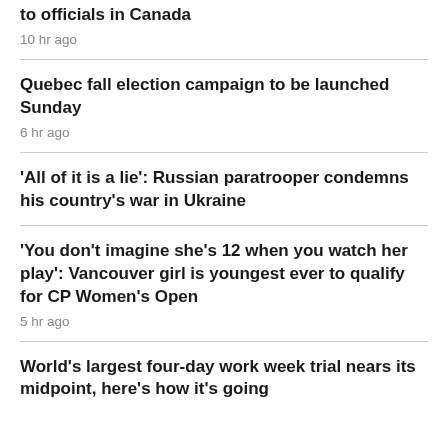to officials in Canada
10 hr ago
Quebec fall election campaign to be launched Sunday
6 hr ago
'All of it is a lie': Russian paratrooper condemns his country's war in Ukraine
'You don't imagine she's 12 when you watch her play': Vancouver girl is youngest ever to qualify for CP Women's Open
5 hr ago
World's largest four-day work week trial nears its midpoint, here's how it's going